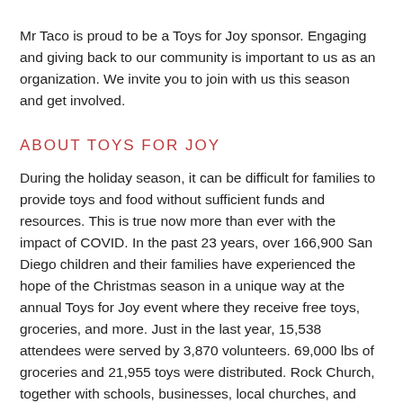Mr Taco is proud to be a Toys for Joy sponsor. Engaging and giving back to our community is important to us as an organization. We invite you to join with us this season and get involved.
ABOUT TOYS FOR JOY
During the holiday season, it can be difficult for families to provide toys and food without sufficient funds and resources. This is true now more than ever with the impact of COVID. In the past 23 years, over 166,900 San Diego children and their families have experienced the hope of the Christmas season in a unique way at the annual Toys for Joy event where they receive free toys, groceries, and more. Just in the last year, 15,538 attendees were served by 3,870 volunteers. 69,000 lbs of groceries and 21,955 toys were distributed. Rock Church, together with schools, businesses, local churches, and community organizations partner to host the event each